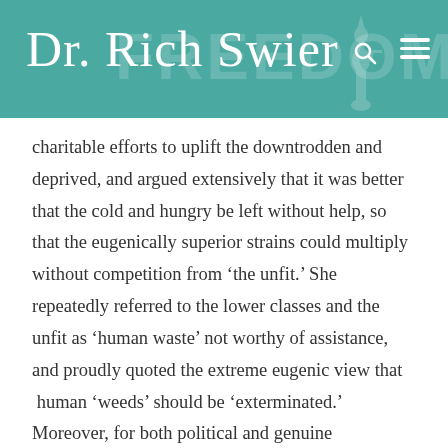Dr. Rich Swier
charitable efforts to uplift the downtrodden and deprived, and argued extensively that it was better that the cold and hungry be left without help, so that the eugenically superior strains could multiply without competition from ‘the unfit.’ She repeatedly referred to the lower classes and the unfit as ‘human waste’ not worthy of assistance, and proudly quoted the extreme eugenic view that  human ‘weeds’ should be ‘exterminated.’ Moreover, for both political and genuine ideological reasons, Sanger associated closely with some of some of